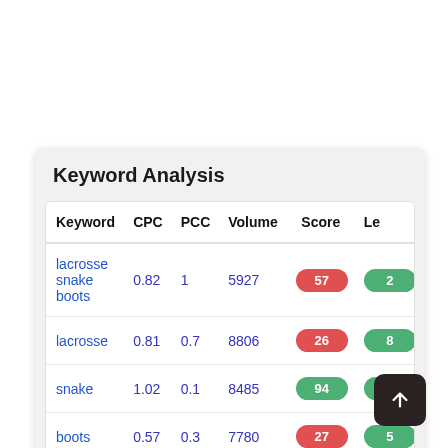Keyword Analysis
| Keyword | CPC | PCC | Volume | Score | Le |
| --- | --- | --- | --- | --- | --- |
| lacrosse snake boots | 0.82 | 1 | 5927 | 57 | 2 |
| lacrosse | 0.81 | 0.7 | 8806 | 26 | 8 |
| snake | 1.02 | 0.1 | 8485 | 94 | 5 |
| boots | 0.57 | 0.3 | 7780 | 27 | 5 |